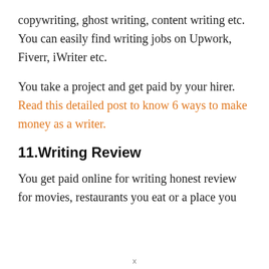copywriting, ghost writing, content writing etc. You can easily find writing jobs on Upwork, Fiverr, iWriter etc.
You take a project and get paid by your hirer. Read this detailed post to know 6 ways to make money as a writer.
11.Writing Review
You get paid online for writing honest review for movies, restaurants you eat or a place you
x